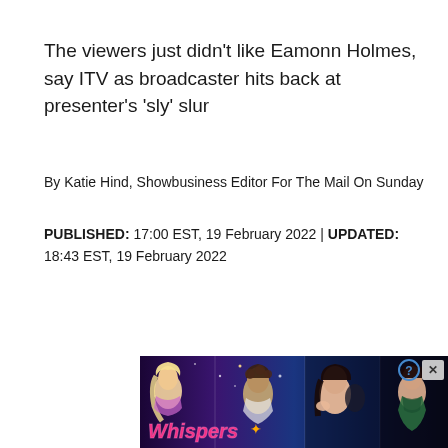The viewers just didn't like Eamonn Holmes, say ITV as broadcaster hits back at presenter's 'sly' slur
By Katie Hind, Showbusiness Editor For The Mail On Sunday
PUBLISHED: 17:00 EST, 19 February 2022 | UPDATED: 18:43 EST, 19 February 2022
[Figure (illustration): Advertisement banner for 'Whispers' mobile game/app showing illustrated romantic characters — couples in dramatic scenes. A blonde woman, a young man with curly hair, a couple in silhouette, and a woman in a green dress. Close button (X) and help button (?) in top right corner. Whispers logo in pink/orange at bottom left.]